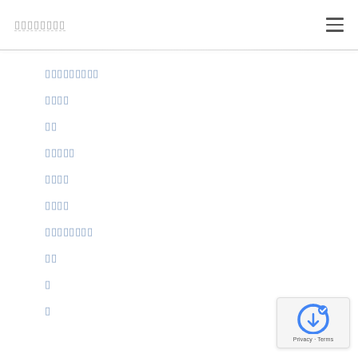▯▯▯▯▯▯▯▯
▯▯▯▯▯▯▯▯▯
▯▯▯▯
▯▯
▯▯▯▯▯
▯▯▯▯
▯▯▯▯
▯▯▯▯▯▯▯▯
▯▯
▯
▯